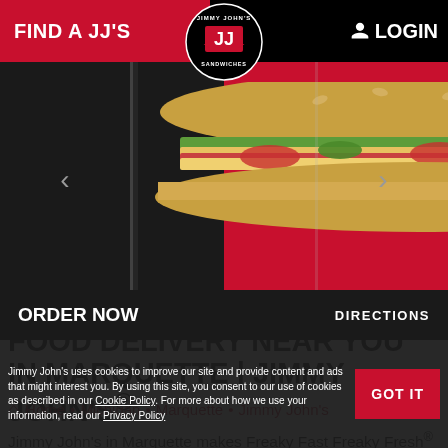FIND A JJ'S  LOGIN
[Figure (photo): Jimmy John's sandwich hero image with dark left half and red right half background, JJ logo circle at top center]
LUNCHES, SANDWICHES, & FOOD DELIVERY NEAR YOU IN MARQUETTE | JIMMY JOHN'S®
Home • Michigan • Marquette • Jimmy John's
Jimmy John's in Marquette makes Freaky Fast Freaky Fresh® sandwiches near you using only the freshest ingredients. Stop by and order delivery or pick up from one
Jimmy John's uses cookies to improve our site and provide content and ads that might interest you. By using this site, you consent to our use of cookies as described in our Cookie Policy. For more about how we use your information, read our Privacy Policy
ORDER NOW   DIRECTIONS